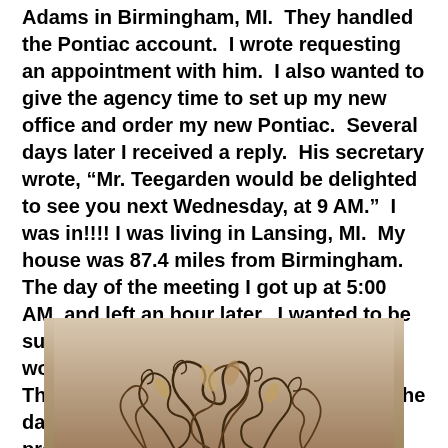Adams in Birmingham, MI.  They handled the Pontiac account.  I wrote requesting an appointment with him.  I also wanted to give the agency time to set up my new office and order my new Pontiac.  Several days later I received a reply.  His secretary wrote, “Mr. Teegarden would be delighted to see you next Wednesday, at 9 AM.”  I was in!!!! I was living in Lansing, MI.  My house was 87.4 miles from Birmingham. The day of the meeting I got up at 5:00 AM, and left an hour later.  I wanted to be sure that I wasn’t late for my first day at work.  It was June of 1971 in Michigan.  The last of the winter snow had melted the day before, and this glorious day now presented us with
[Figure (photo): A photograph showing curly, dark brown plant tendrils or dried plant material against a light beige/cream background.]